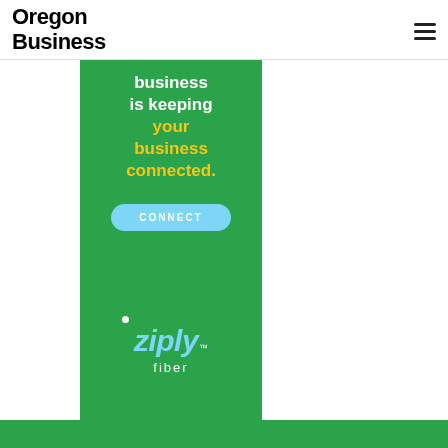Oregon Business
[Figure (illustration): Ziply Fiber advertisement on green background. Text reads 'business is keeping your business connected.' with a CONNECT button and Ziply fiber logo at bottom.]